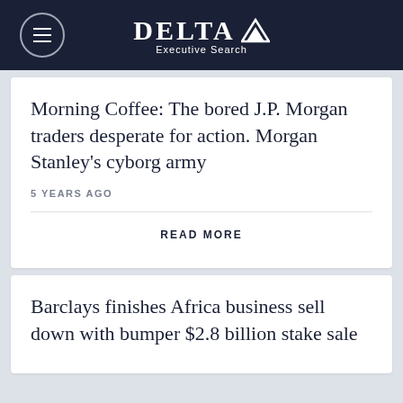DELTA Executive Search
Morning Coffee: The bored J.P. Morgan traders desperate for action. Morgan Stanley's cyborg army
5 YEARS AGO
READ MORE
Barclays finishes Africa business sell down with bumper $2.8 billion stake sale